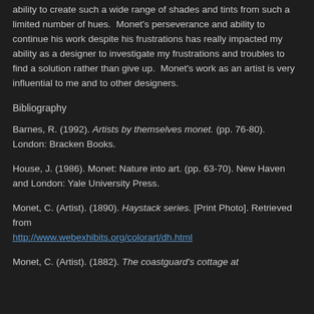ability to create such a wide range of shades and tints from such a limited number of hues.  Monet's perseverance and ability to continue his work despite his frustrations has really impacted my ability as a designer to investigate my frustrations and troubles to find a solution rather than give up.  Monet's work as an artist is very influential to me and to other designers.
Bibliography
Barnes, R. (1992). Artists by themselves monet. (pp. 76-80). London: Bracken Books.
House, J. (1986). Monet: Nature into art. (pp. 63-70). New Haven and London: Yale University Press.
Monet, C. (Artist). (1890). Haystack series. [Print Photo]. Retrieved from http://www.webexhibits.org/colorart/dh.html
Monet, C. (Artist). (1882). The coastguard's cottage at